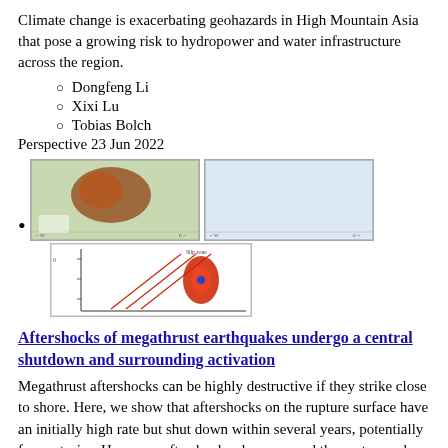Climate change is exacerbating geohazards in High Mountain Asia that pose a growing risk to hydropower and water infrastructure across the region.
Dongfeng Li
Xixi Lu
Tobias Bolch
Perspective 23 Jun 2022
[Figure (photo): Two satellite/map images side by side showing terrain/geohazard data in color, with a smaller chart below showing seismic or displacement data with red ellipse and diagonal lines.]
Aftershocks of megathrust earthquakes undergo a central shutdown and surrounding activation
Megathrust aftershocks can be highly destructive if they strike close to shore. Here, we show that aftershocks on the rupture surface have an initially high rate but shut down within several years, potentially for centuries. However, aftershocks also surround the rupture, where they persist for up to 60 years.
Research Briefing 14 Jun 2022